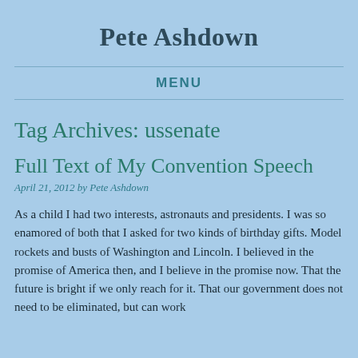Pete Ashdown
MENU
Tag Archives: ussenate
Full Text of My Convention Speech
April 21, 2012 by Pete Ashdown
As a child I had two interests, astronauts and presidents. I was so enamored of both that I asked for two kinds of birthday gifts. Model rockets and busts of Washington and Lincoln. I believed in the promise of America then, and I believe in the promise now. That the future is bright if we only reach for it. That our government does not need to be eliminated, but can work efficiently and does not things if we elect this humbug...